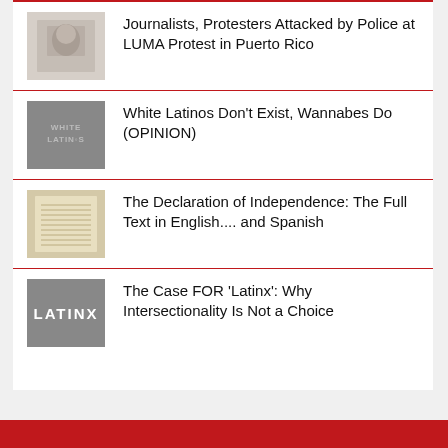Journalists, Protesters Attacked by Police at LUMA Protest in Puerto Rico
White Latinos Don’t Exist, Wannabes Do (OPINION)
The Declaration of Independence: The Full Text in English.... and Spanish
The Case FOR 'Latinx': Why Intersectionality Is Not a Choice